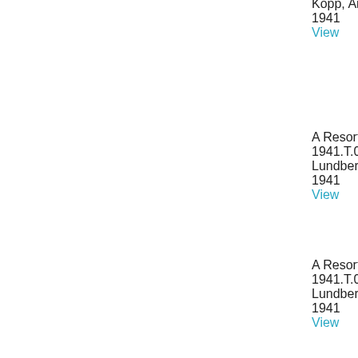Kopp, Anatole
1941
View
A Resort Hotel o
1941.T.034
Lundberg, Robe
1941
View
A Resort Hotel o
1941.T.035
Lundberg, Robe
1941
View
A Resort Hotel o
1941.T.036
Lundberg, Robe
1941
View
A Resort Hotel o
1941.T.037
Lundberg, Robe